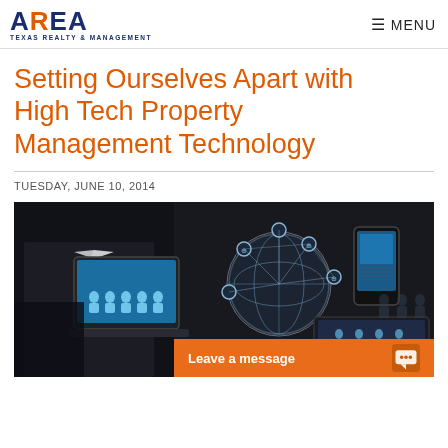AREA Texas Realty & Management — MENU
Setting Ourselves Apart with High Tech Property Management Technology
TUESDAY, JUNE 10, 2014
[Figure (photo): A businessman holding a laptop displaying a network of connected people icons, a globe with connectivity nodes, and a smartphone — representing high tech property management technology. An orange 'Leave a message' chat bar appears at the bottom right.]